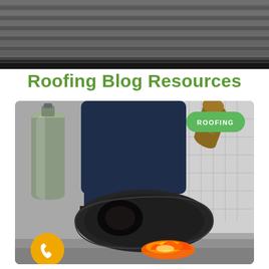[Figure (photo): Aerial/close-up photo of old dark roof shingles/tiles with horizontal ridged lines, serving as a decorative header background image]
Roofing Blog Resources
[Figure (photo): Photo of a roofing worker using a torch/flame to apply a roll of bitumen roofing membrane, with a green gas cylinder on the left and a 'ROOFING' badge in the upper right corner. An orange phone button is overlaid at the bottom left.]